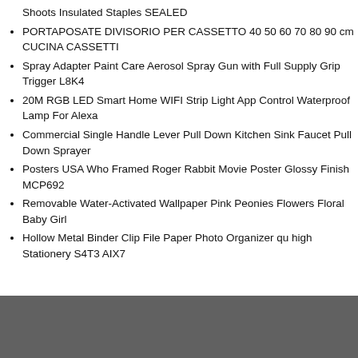Shoots Insulated Staples SEALED
PORTAPOSATE DIVISORIO PER CASSETTO 40 50 60 70 80 90 cm CUCINA CASSETTI
Spray Adapter Paint Care Aerosol Spray Gun with Full Supply Grip Trigger L8K4
20M RGB LED Smart Home WIFI Strip Light App Control Waterproof Lamp For Alexa
Commercial Single Handle Lever Pull Down Kitchen Sink Faucet Pull Down Sprayer
Posters USA Who Framed Roger Rabbit Movie Poster Glossy Finish MCP692
Removable Water-Activated Wallpaper Pink Peonies Flowers Floral Baby Girl
Hollow Metal Binder Clip File Paper Photo Organizer qu high Stationery S4T3 AIX7